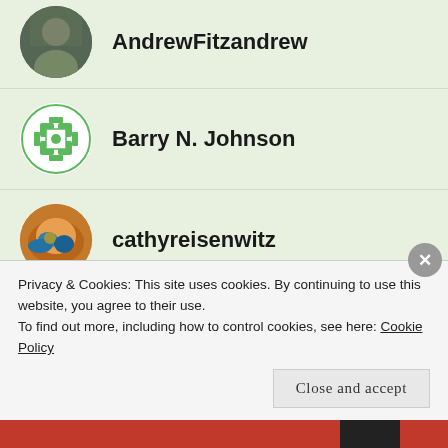AndrewFitzandrew
Barry N. Johnson
cathyreisenwitz
careid
Privacy & Cookies: This site uses cookies. By continuing to use this website, you agree to their use.
To find out more, including how to control cookies, see here: Cookie Policy
Close and accept